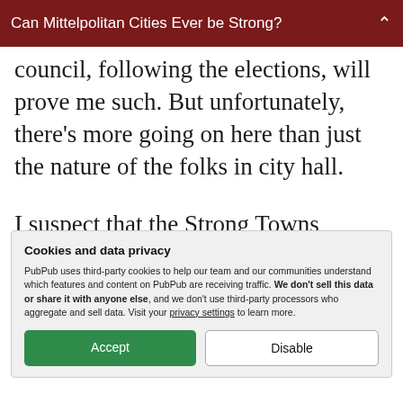Can Mittelpolitan Cities Ever be Strong?
council, following the elections, will prove me such. But unfortunately, there’s more going on here than just the nature of the folks in city hall.
I suspect that the Strong Towns message faces a distinct and especially difficult set of obstacles with what I call
Cookies and data privacy
PubPub uses third-party cookies to help our team and our communities understand which features and content on PubPub are receiving traffic. We don’t sell this data or share it with anyone else, and we don’t use third-party processors who aggregate and sell data. Visit your privacy settings to learn more.